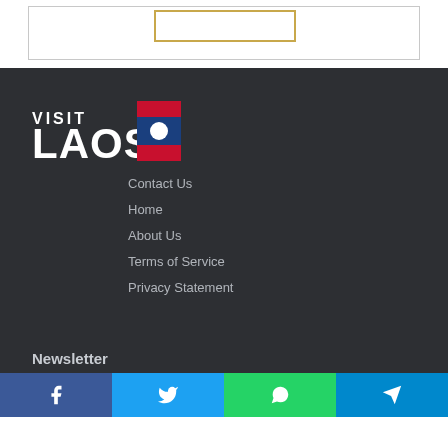[Figure (logo): Visit Laos logo with Laos flag — text 'VISIT LAOS' in white with Laos flag (red-blue-red stripes with white circle)]
Contact Us
Home
About Us
Terms of Service
Privacy Statement
Newsletter
Facebook | Twitter | WhatsApp | Telegram social share bar